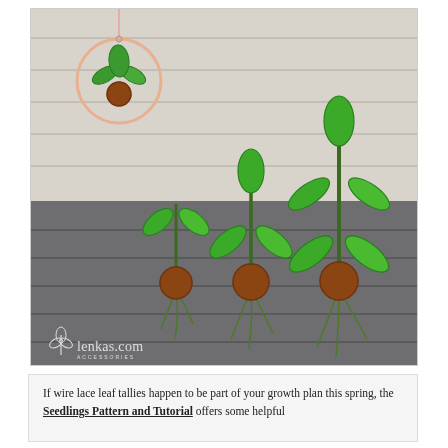[Figure (photo): Three wire lace seedling plants with green wire-wrapped leaves and brown seed/root balls, displayed on a two-tone background (light gray wood planks on top, dark gray wood planks on bottom). A small circular ornament with similar wire leaf work hangs in the upper left. Watermark reads 'lenkas.com' with a small plant logo.]
If wire lace leaf tallies happen to be part of your growth plan this spring, the Seedlings Pattern and Tutorial offers some helpful